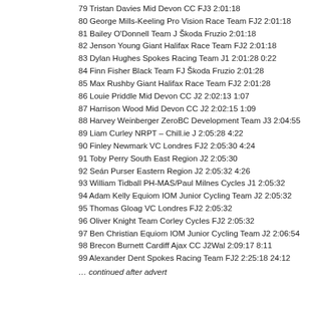79 Tristan Davies Mid Devon CC FJ3 2:01:18
80 George Mills-Keeling Pro Vision Race Team FJ2 2:01:18
81 Bailey O'Donnell Team J Škoda Fruzio 2:01:18
82 Jenson Young Giant Halifax Race Team FJ2 2:01:18
83 Dylan Hughes Spokes Racing Team J1 2:01:28 0:22
84 Finn Fisher Black Team FJ Škoda Fruzio 2:01:28
85 Max Rushby Giant Halifax Race Team FJ2 2:01:28
86 Louie Priddle Mid Devon CC J2 2:02:13 1:07
87 Harrison Wood Mid Devon CC J2 2:02:15 1:09
88 Harvey Weinberger ZeroBC Development Team J3 2:04:55
89 Liam Curley NRPT – Chill.ie J 2:05:28 4:22
90 Finley Newmark VC Londres FJ2 2:05:30 4:24
91 Toby Perry South East Region J2 2:05:30
92 Seán Purser Eastern Region J2 2:05:32 4:26
93 William Tidball PH-MAS/Paul Milnes Cycles J1 2:05:32
94 Adam Kelly Equiom IOM Junior Cycling Team J2 2:05:32
95 Thomas Gloag VC Londres FJ2 2:05:32
96 Oliver Knight Team Corley Cycles FJ2 2:05:32
97 Ben Christian Equiom IOM Junior Cycling Team J2 2:06:54
98 Brecon Burnett Cardiff Ajax CC J2Wal 2:09:17 8:11
99 Alexander Dent Spokes Racing Team FJ2 2:25:18 24:12
… continued after advert